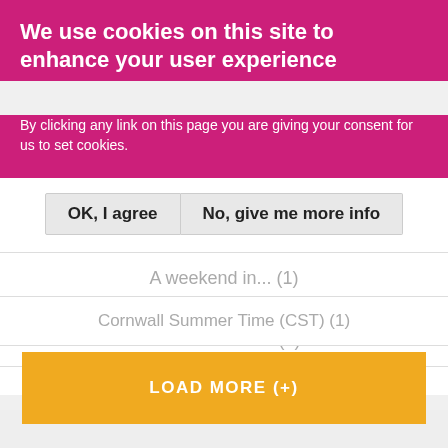We use cookies on this site to enhance your user experience
By clicking any link on this page you are giving your consent for us to set cookies.
OK, I agree | No, give me more info
A weekend in... (1)
Arts and culture (2)
Cornwall Summer Time (CST) (1)
LOAD MORE (+)